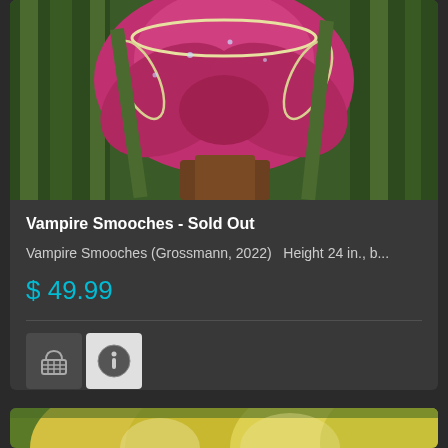[Figure (photo): Close-up photo of a pink/magenta orchid-like flower (Vampire Smooches daylily) with frilly cream edges and green foliage in the background, with water droplets visible]
Vampire Smooches - Sold Out
Vampire Smooches (Grossmann, 2022)   Height 24 in., b...
$ 49.99
[Figure (photo): Partial photo of yellow daylily flowers at the bottom of the page, second product card]